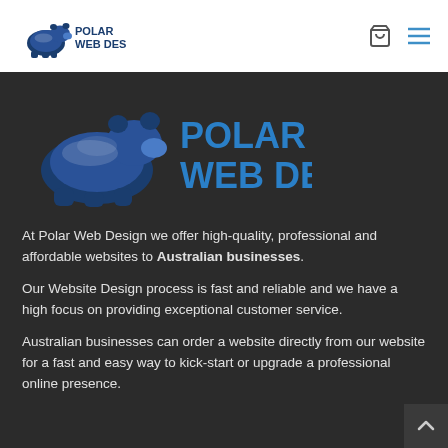Polar Web Design – header navigation with logo, cart icon, and menu icon
[Figure (logo): Polar Web Design logo: large polar bear illustration on dark background with 'POLAR WEB DESIGN' text in blue]
At Polar Web Design we offer high-quality, professional and affordable websites to Australian businesses.
Our Website Design process is fast and reliable and we have a high focus on providing exceptional customer service.
Australian businesses can order a website directly from our website for a fast and easy way to kick-start or upgrade a professional online presence.